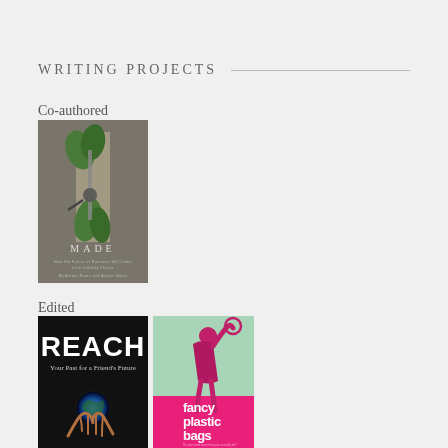WRITING PROJECTS
Co-authored
[Figure (illustration): Book cover for 'MADE' — dark olive/taupe background with illustrated green plant and tool imagery in the center, text 'MADE' at the bottom]
Edited
[Figure (illustration): Book cover for 'REACH: Your Past for a Friend's Future' — dark background with a glowing Earth held in hands]
[Figure (illustration): Book cover for 'fancy plastic bags' — mint green top section with pink/magenta figure, hot pink bottom section with white text 'fancy plastic bags']